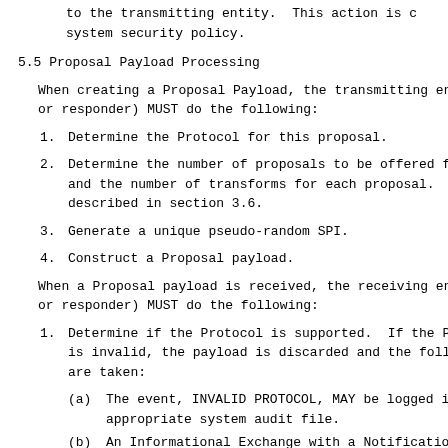to the transmitting entity.  This action is consistent with system security policy.
5.5 Proposal Payload Processing
When creating a Proposal Payload, the transmitting entity (initiator or responder) MUST do the following:
1.   Determine the Protocol for this proposal.
2.   Determine the number of proposals to be offered for negotiation and the number of transforms for each proposal.  This is described in section 3.6.
3.   Generate a unique pseudo-random SPI.
4.   Construct a Proposal payload.
When a Proposal payload is received, the receiving entity (initiator or responder) MUST do the following:
1.   Determine if the Protocol is supported.  If the Protocol is invalid, the payload is discarded and the following actions are taken:
(a)  The event, INVALID PROTOCOL, MAY be logged in the appropriate system audit file.
(b)  An Informational Exchange with a Notification payload containing the INVALID-PROTOCOL-ID message type